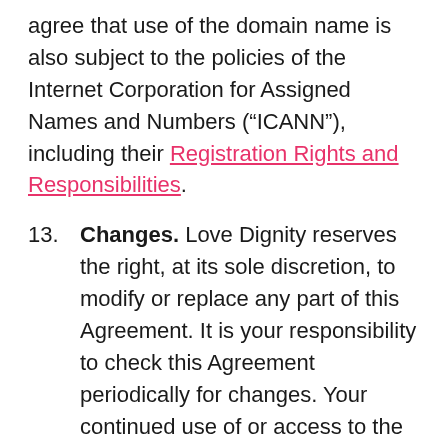agree that use of the domain name is also subject to the policies of the Internet Corporation for Assigned Names and Numbers (“ICANN”), including their Registration Rights and Responsibilities.
13. Changes. Love Dignity reserves the right, at its sole discretion, to modify or replace any part of this Agreement. It is your responsibility to check this Agreement periodically for changes. Your continued use of or access to the Website following the posting of any changes to this Agreement constitutes acceptance of those changes. Love Dignity may also, in the future, offer new services and/or features through the Website (including, the release of new tools and resources). Such new features and/or services shall be subject to the terms and conditions of